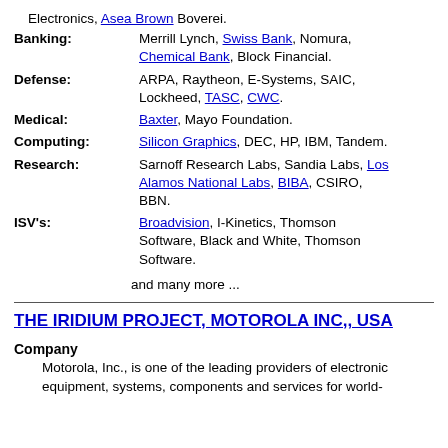Electronics, Asea Brown Boverei.
Banking: Merrill Lynch, Swiss Bank, Nomura, Chemical Bank, Block Financial.
Defense: ARPA, Raytheon, E-Systems, SAIC, Lockheed, TASC, CWC.
Medical: Baxter, Mayo Foundation.
Computing: Silicon Graphics, DEC, HP, IBM, Tandem.
Research: Sarnoff Research Labs, Sandia Labs, Los Alamos National Labs, BIBA, CSIRO, BBN.
ISV's: Broadvision, I-Kinetics, Thomson Software, Black and White, Thomson Software.
and many more ...
THE IRIDIUM PROJECT, MOTOROLA INC,, USA
Company
Motorola, Inc., is one of the leading providers of electronic equipment, systems, components and services for world-